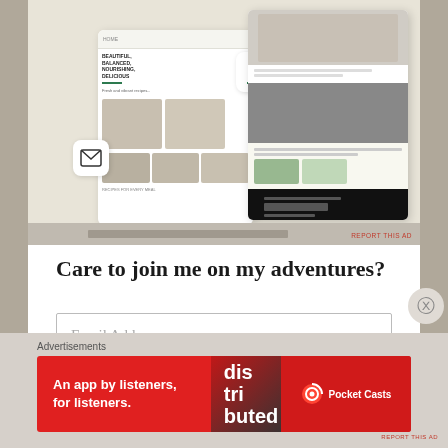[Figure (screenshot): App mockup screenshot showing a food/recipe magazine app on mobile screens with food photos and article layouts, on a beige background. Includes app icons (letter A, envelope icon). Text 'REPORT THIS AD' visible.]
Care to join me on my adventures?
[Figure (screenshot): Email address input field with placeholder text 'Email Address']
Advertisements
[Figure (screenshot): Pocket Casts advertisement banner: red background with text 'An app by listeners, for listeners.' and Pocket Casts logo. Shows a phone with 'dis-tri-buted' text on screen.]